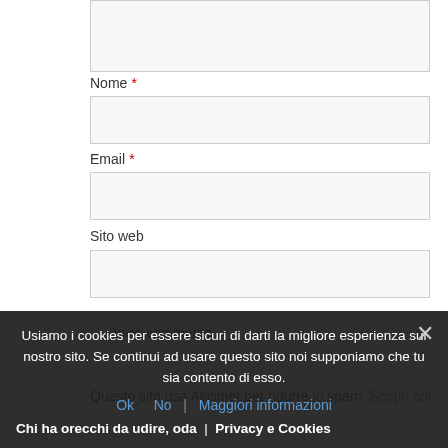[Figure (screenshot): Top portion of a web comment form showing a textarea input (partially visible, cut off at top)]
Nome *
[Figure (screenshot): Text input field for Nome (name)]
Email *
[Figure (screenshot): Text input field for Email]
Sito web
[Figure (screenshot): Text input field for Sito web (website)]
Invia commento (button)
Questo sito usa Akismet per ridurre lo spam. Scopri come i tuoi…
Usiamo i cookies per essere sicuri di darti la migliore esperienza sul nostro sito. Se continui ad usare questo sito noi supponiamo che tu sia contento di esso.
Ok  No  Maggiori informazioni
Chi ha orecchi da udire, oda  |  Privacy e Cookies